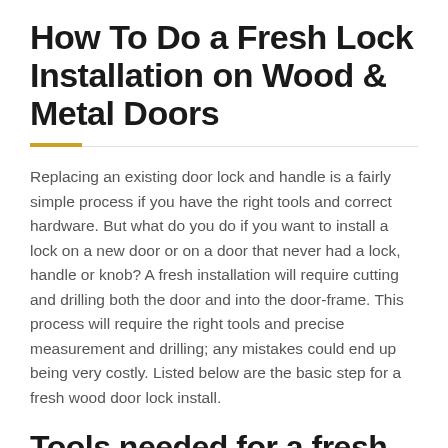How To Do a Fresh Lock Installation on Wood & Metal Doors
Replacing an existing door lock and handle is a fairly simple process if you have the right tools and correct hardware. But what do you do if you want to install a lock on a new door or on a door that never had a lock, handle or knob? A fresh installation will require cutting and drilling both the door and into the door-frame. This process will require the right tools and precise measurement and drilling; any mistakes could end up being very costly. Listed below are the basic step for a fresh wood door lock install.
Tools needed for a fresh lock installation (wood door):